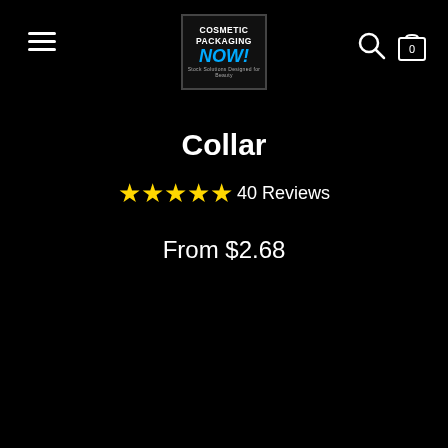Cosmetic Packaging Now! - navigation header with menu, logo, search, and cart
Collar
★★★★★ 40 Reviews
From $2.68